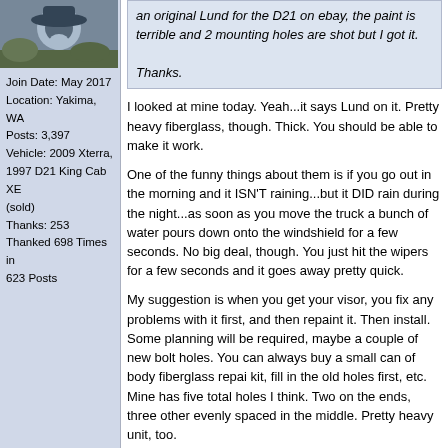[Figure (photo): User avatar photo showing a person wearing a wide-brimmed hat outdoors]
Join Date: May 2017
Location: Yakima, WA
Posts: 3,397
Vehicle: 2009 Xterra, 1997 D21 King Cab XE (sold)
Thanks: 253
Thanked 698 Times in 623 Posts
an original Lund for the D21 on ebay, the paint is terrible and 2 mounting holes are shot but I got it.

Thanks.
I looked at mine today. Yeah...it says Lund on it. Pretty heavy fiberglass, though. Thick. You should be able to make it work.

One of the funny things about them is if you go out in the morning and it ISN'T raining...but it DID rain during the night...as soon as you move the truck a bunch of water pours down onto the windshield for a few seconds. No big deal, though. You just hit the wipers for a few seconds and it goes away pretty quick.

My suggestion is when you get your visor, you fix any problems with it first, and then repaint it. Then install. Some planning will be required, maybe a couple of new bolt holes. You can always buy a small can of body fiberglass repair kit, fill in the old holes first, etc. Mine has five total holes I think. Two on the ends, three other evenly spaced in the middle. Pretty heavy unit, too.
[Figure (photo): Photo of a truck with a cab visor installed, taken outdoors with trees in background]